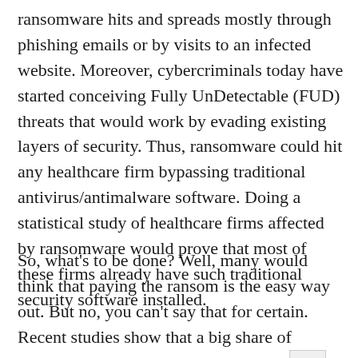ransomware hits and spreads mostly through phishing emails or by visits to an infected website. Moreover, cybercriminals today have started conceiving Fully UnDetectable (FUD) threats that would work by evading existing layers of security. Thus, ransomware could hit any healthcare firm bypassing traditional antivirus/antimalware software. Doing a statistical study of healthcare firms affected by ransomware would prove that most of these firms already have such traditional security software installed.
So, what's to be done? Well, many would think that paying the ransom is the easy way out. But no, you can't say that for certain. Recent studies show that a big share of ransomware victims fail to get their da▲ck even after paying the ransom. Yes, among the